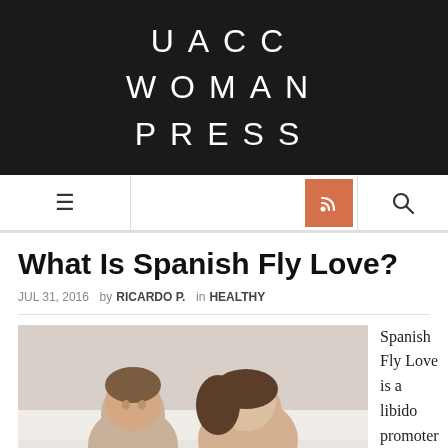UACC WOMAN PRESS
[Figure (screenshot): Navigation bar with hamburger menu, RSS feed orange button, and search icon]
What Is Spanish Fly Love?
JUL 31, 2016 by RICARDO P. in HEALTHY
[Figure (photo): A man and woman lying on a bed facing each other intimately]
Spanish Fly Love is a libido promoter and sex